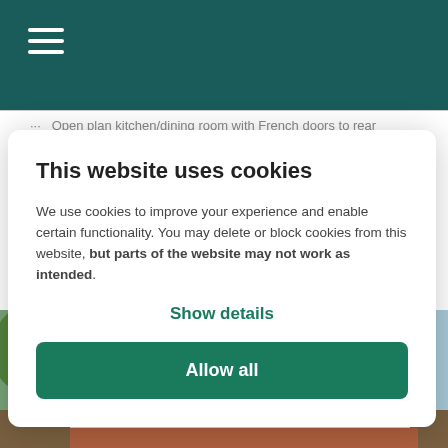Open plan kitchen/dining room with French doors to rear
This website uses cookies
We use cookies to improve your experience and enable certain functionality. You may delete or block cookies from this website, but parts of the website may not work as intended.
Show details
Allow all
[Figure (photo): Exterior view of new-build houses with grey roofs and cream/brick facades under a blue sky with trees; a 3D TOUR badge overlay in orange is visible in the top right of the photo.]